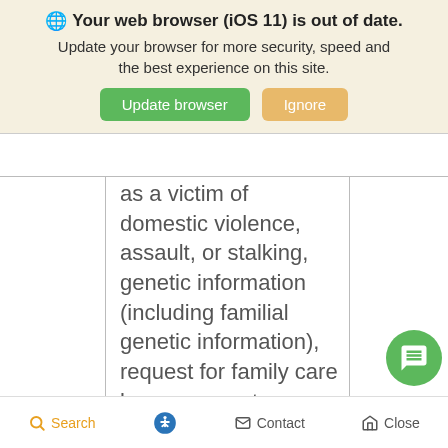🌐 Your web browser (iOS 11) is out of date. Update your browser for more security, speed and the best experience on this site. [Update browser] [Ignore]
|  | as a victim of domestic violence, assault, or stalking, genetic information (including familial genetic information), request for family care leave, request |  |
Search  [accessibility]  Contact  [home] Close